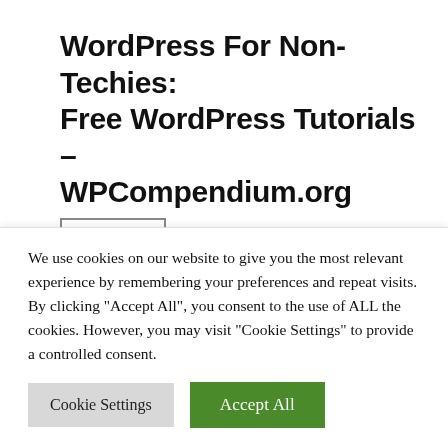WordPress For Non-Techies: Free WordPress Tutorials – WPCompendium.org
MENU
Tag: WordPress Post
We use cookies on our website to give you the most relevant experience by remembering your preferences and repeat visits. By clicking "Accept All", you consent to the use of ALL the cookies. However, you may visit "Cookie Settings" to provide a controlled consent.
Cookie Settings   Accept All